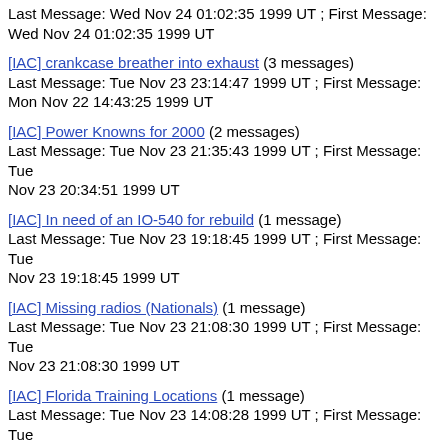Last Message: Wed Nov 24 01:02:35 1999 UT ; First Message: Wed Nov 24 01:02:35 1999 UT
[IAC] crankcase breather into exhaust (3 messages) Last Message: Tue Nov 23 23:14:47 1999 UT ; First Message: Mon Nov 22 14:43:25 1999 UT
[IAC] Power Knowns for 2000 (2 messages) Last Message: Tue Nov 23 21:35:43 1999 UT ; First Message: Tue Nov 23 20:34:51 1999 UT
[IAC] In need of an IO-540 for rebuild (1 message) Last Message: Tue Nov 23 19:18:45 1999 UT ; First Message: Tue Nov 23 19:18:45 1999 UT
[IAC] Missing radios (Nationals) (1 message) Last Message: Tue Nov 23 21:08:30 1999 UT ; First Message: Tue Nov 23 21:08:30 1999 UT
[IAC] Florida Training Locations (1 message) Last Message: Tue Nov 23 14:08:28 1999 UT ; First Message: Tue Nov 23 14:08:28 1999 UT
[IAC] Aerobatic Leadership Pledge (4 messages) Last Message: Mon Nov 22 21:42:15 1999 UT ; First Message: Thu Nov 18 17:24:40 1999 UT